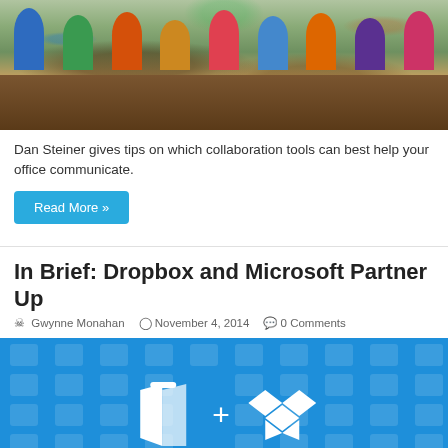[Figure (photo): People sitting around a table using smartphones and tablets, viewed from above]
Dan Steiner gives tips on which collaboration tools can best help your office communicate.
Read More »
In Brief: Dropbox and Microsoft Partner Up
Gwynne Monahan   November 4, 2014   0 Comments
[Figure (photo): Blue background with Microsoft Office and Dropbox logos connected by a plus sign, with faint app icons in the background]